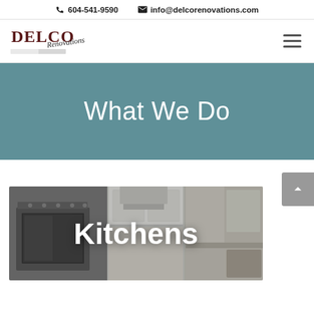604-541-9590   info@delcorenovations.com
[Figure (logo): Delco Renovations logo with stylized text and brushstroke banner]
[Figure (infographic): Hamburger menu icon (three horizontal lines)]
What We Do
[Figure (photo): Kitchen renovation photo showing white cabinetry, stainless steel appliances and bright modern kitchen with text overlay 'Kitchens']